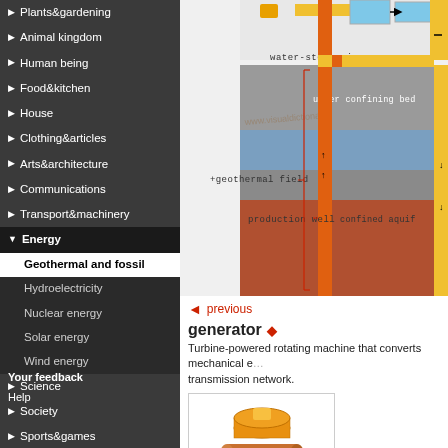Plants & gardening
Animal kingdom
Human being
Food & kitchen
House
Clothing & articles
Arts & architecture
Communications
Transport & machinery
Energy
Geothermal and fossil
Hydroelectricity
Nuclear energy
Solar energy
Wind energy
Science
Society
Sports & games
Your feedback
Help
[Figure (engineering-diagram): Geothermal energy diagram showing water-steam mix, upper confining bed, geothermal field, production well, and confined aquifer layers with color-coded geological strata.]
◄ previous
generator
Turbine-powered rotating machine that converts mechanical energy into electrical energy for distribution over a transmission network.
[Figure (illustration): Illustration of a generator unit showing a colorful mechanical turbine/generator device.]
generator unit
production well